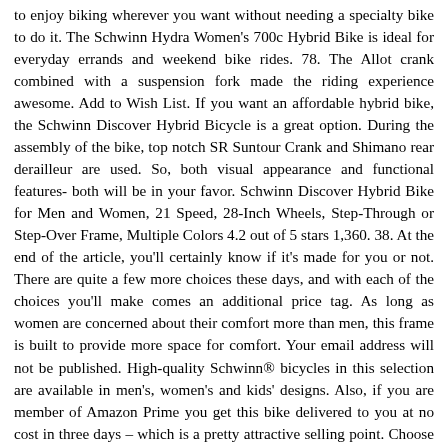to enjoy biking wherever you want without needing a specialty bike to do it. The Schwinn Hydra Women's 700c Hybrid Bike is ideal for everyday errands and weekend bike rides. 78. The Allot crank combined with a suspension fork made the riding experience awesome. Add to Wish List. If you want an affordable hybrid bike, the Schwinn Discover Hybrid Bicycle is a great option. During the assembly of the bike, top notch SR Suntour Crank and Shimano rear derailleur are used. So, both visual appearance and functional features- both will be in your favor. Schwinn Discover Hybrid Bike for Men and Women, 21 Speed, 28-Inch Wheels, Step-Through or Step-Over Frame, Multiple Colors 4.2 out of 5 stars 1,360. 38. At the end of the article, you'll certainly know if it's made for you or not. There are quite a few more choices these days, and with each of the choices you'll make comes an additional price tag. As long as women are concerned about their comfort more than men, this frame is built to provide more space for comfort. Your email address will not be published. High-quality Schwinn® bicycles in this selection are available in men's, women's and kids' designs. Also, if you are member of Amazon Prime you get this bike delivered to you at no cost in three days – which is a pretty attractive selling point. Choose from countless styles, sizes, and colors. One type of bike that is looking to close the gap between street bikes and mountain bikes is the hybrid. Schwinn Schwinn Discover 700c Hybrid Bicycle with Full Fenders and Rear Cargo Rack. They may seem like the same thing, but they're entirely different. Corporate and students who need a